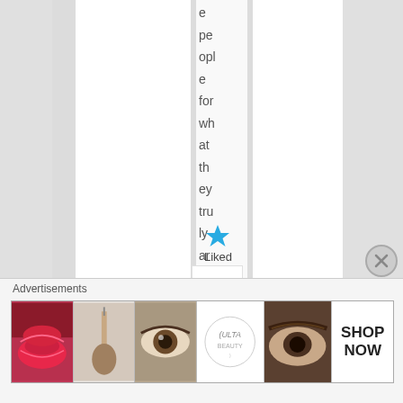e people for what they truly are. x
[Figure (other): Blue star icon for liked/favorite action]
Liked
Advertisements
[Figure (other): Ulta Beauty advertisement banner showing makeup images including lips, brush, eye, Ulta logo, eyebrows, and SHOP NOW text]